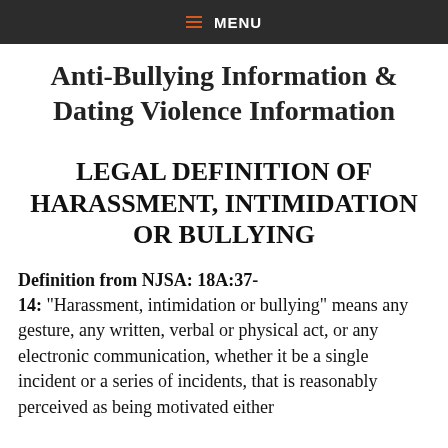≡ MENU
Anti-Bullying Information & Dating Violence Information
LEGAL DEFINITION OF HARASSMENT, INTIMIDATION OR BULLYING
Definition from NJSA: 18A:37-14: "Harassment, intimidation or bullying" means any gesture, any written, verbal or physical act, or any electronic communication, whether it be a single incident or a series of incidents, that is reasonably perceived as being motivated either by any actual or perceived characteristic, or